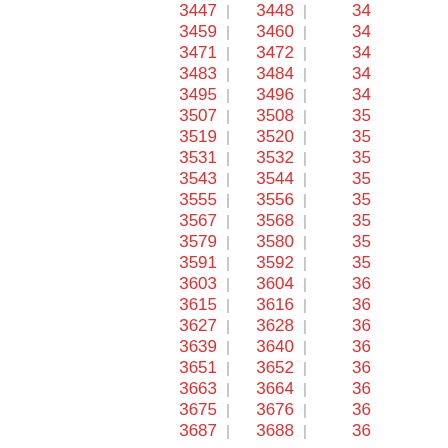3447 | 3448 | 34...
3459 | 3460 | 34...
3471 | 3472 | 34...
3483 | 3484 | 34...
3495 | 3496 | 34...
3507 | 3508 | 35...
3519 | 3520 | 35...
3531 | 3532 | 35...
3543 | 3544 | 35...
3555 | 3556 | 35...
3567 | 3568 | 35...
3579 | 3580 | 35...
3591 | 3592 | 35...
3603 | 3604 | 36...
3615 | 3616 | 36...
3627 | 3628 | 36...
3639 | 3640 | 36...
3651 | 3652 | 36...
3663 | 3664 | 36...
3675 | 3676 | 36...
3687 | 3688 | 36...